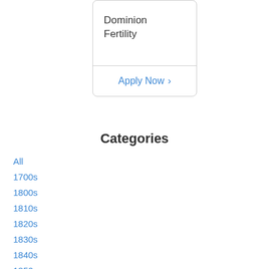[Figure (screenshot): A card UI element showing 'Dominion Fertility' text in the upper section and an 'Apply Now >' link button in the lower section, with a border and rounded corners.]
Categories
All
1700s
1800s
1810s
1820s
1830s
1840s
1850s
1860s